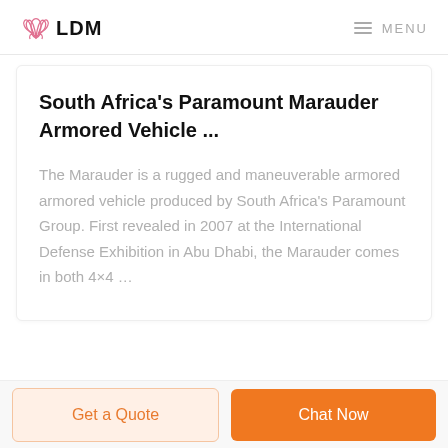LDM  MENU
South Africa's Paramount Marauder Armored Vehicle ...
The Marauder is a rugged and maneuverable armored armored vehicle produced by South Africa's Paramount Group. First revealed in 2007 at the International Defense Exhibition in Abu Dhabi, the Marauder comes in both 4×4 …
Get a Quote  Chat Now